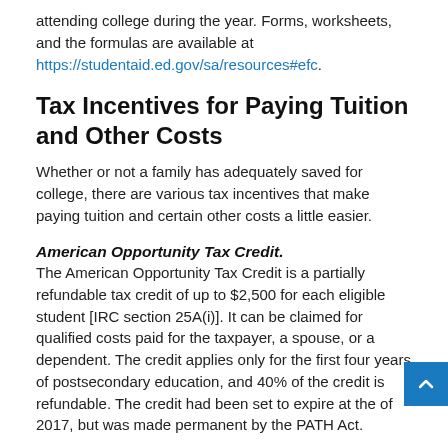attending college during the year. Forms, worksheets, and the formulas are available at https://studentaid.ed.gov/sa/resources#efc.
Tax Incentives for Paying Tuition and Other Costs
Whether or not a family has adequately saved for college, there are various tax incentives that make paying tuition and certain other costs a little easier.
American Opportunity Tax Credit.
The American Opportunity Tax Credit is a partially refundable tax credit of up to $2,500 for each eligible student [IRC section 25A(i)]. It can be claimed for qualified costs paid for the taxpayer, a spouse, or a dependent. The credit applies only for the first four years of postsecondary education, and 40% of the credit is refundable. The credit had been set to expire at the of 2017, but was made permanent by the PATH Act.